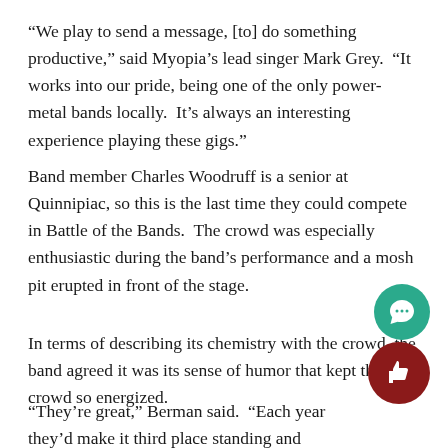“We play to send a message, [to] do something productive,” said Myopia’s lead singer Mark Grey. “It works into our pride, being one of the only power-metal bands locally. It’s always an interesting experience playing these gigs.”
Band member Charles Woodruff is a senior at Quinnipiac, so this is the last time they could compete in Battle of the Bands. The crowd was especially enthusiastic during the band’s performance and a mosh pit erupted in front of the stage.
In terms of describing its chemistry with the crowd, the band agreed it was its sense of humor that kept the crowd so energized.
“They’re great,” Berman said. “Each year they’d make it third place standing and they will round out our genres the [WQAQ] Spring Concert.”